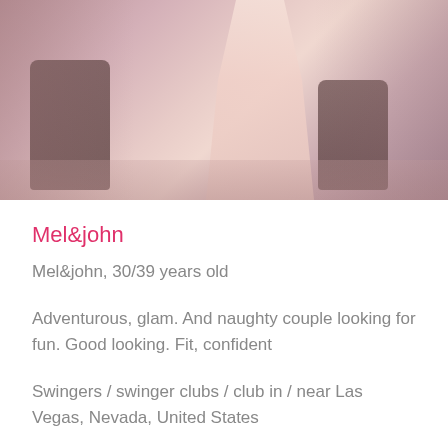[Figure (photo): Top portion of a photo showing a person in a light pink/peach dress with chairs in the background, pink-toned indoor setting]
Mel&john
Mel&john, 30/39 years old
Adventurous, glam. And naughty couple looking for fun. Good looking. Fit, confident
Swingers / swinger clubs / club in / near Las Vegas, Nevada, United States
[Figure (photo): Bottom cropped photo showing a close-up of a person's face in a car or similar setting, dark-toned]